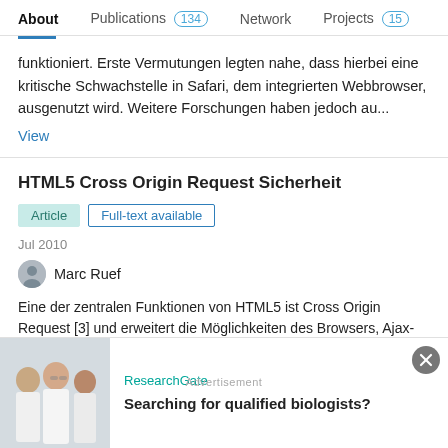About  Publications 134  Network  Projects 15
funktioniert. Erste Vermutungen legten nahe, dass hierbei eine kritische Schwachstelle in Safari, dem integrierten Webbrowser, ausgenutzt wird. Weitere Forschungen haben jedoch au...
View
HTML5 Cross Origin Request Sicherheit
Article  Full-text available
Jul 2010
Marc Ruef
Eine der zentralen Funktionen von HTML5 ist Cross Origin Request [3] und erweitert die Möglichkeiten des Browsers, Ajax-ähnliche Zugriffe domänenübergreifend durchzuführen. Die traditionelle Same Origin Policy...
[Figure (photo): Advertisement banner: ResearchGate ad showing group of scientists/biologists in lab coats, with text 'Searching for qualified biologists?']